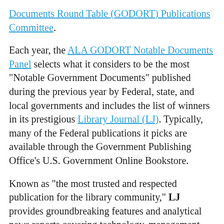Documents Round Table (GODORT) Publications Committee.
Each year, the ALA GODORT Notable Documents Panel selects what it considers to be the most "Notable Government Documents" published during the previous year by Federal, state, and local governments and includes the list of winners in its prestigious Library Journal (LJ). Typically, many of the Federal publications it picks are available through the Government Publishing Office's U.S. Government Online Bookstore.
Known as "the most trusted and respected publication for the library community," LJ provides groundbreaking features and analytical news reports covering technology, management, policy and other professional concerns to public, academic and institutional libraries. Its hefty reviews sections evaluate 8000+ reviews annually